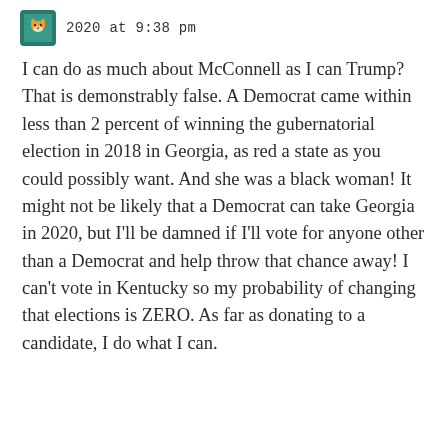2020 at 9:38 pm
I can do as much about McConnell as I can Trump? That is demonstrably false. A Democrat came within less than 2 percent of winning the gubernatorial election in 2018 in Georgia, as red a state as you could possibly want. And she was a black woman! It might not be likely that a Democrat can take Georgia in 2020, but I'll be damned if I'll vote for anyone other than a Democrat and help throw that chance away! I can't vote in Kentucky so my probability of changing that elections is ZERO. As far as donating to a candidate, I do what I can.